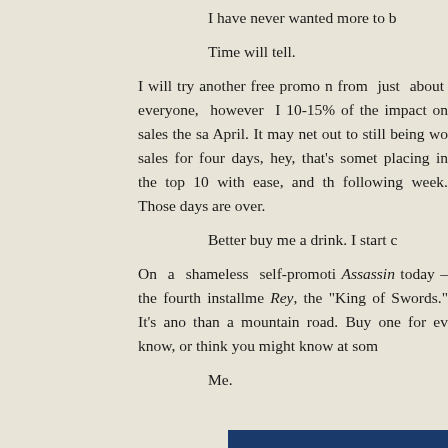I have never wanted more to b
Time will tell.
I will try another free promo n from just about everyone, however I 10-15% of the impact on sales the sa April. It may net out to still being wo sales for four days, hey, that's somet placing in the top 10 with ease, and th following week. Those days are over.
Better buy me a drink. I start c
On a shameless self-promoti Assassin today – the fourth installme Rey, the "King of Swords." It's ano than a mountain road. Buy one for ev know, or think you might know at som
Me.